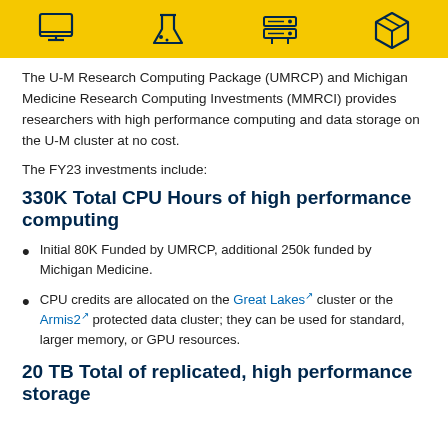[Figure (illustration): Yellow banner with four icons: desktop computer monitor, laboratory flask, storage/server unit, and a box/package icon]
The U-M Research Computing Package (UMRCP) and Michigan Medicine Research Computing Investments (MMRCI) provides researchers with high performance computing and data storage on the U-M cluster at no cost.
The FY23 investments include:
330K Total CPU Hours of high performance computing
Initial 80K Funded by UMRCP, additional 250k funded by Michigan Medicine.
CPU credits are allocated on the Great Lakes cluster or the Armis2 protected data cluster; they can be used for standard, larger memory, or GPU resources.
20 TB Total of replicated, high performance storage